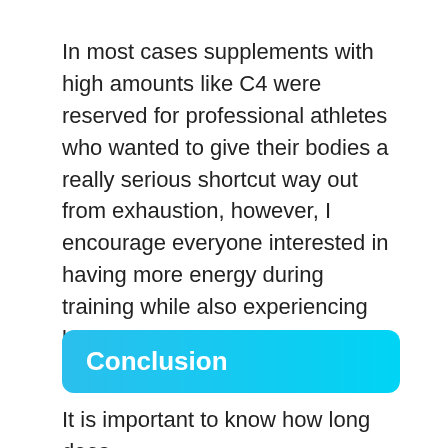In most cases supplements with high amounts like C4 were reserved for professional athletes who wanted to give their bodies a really serious shortcut way out from exhaustion, however, I encourage everyone interested in having more energy during training while also experiencing less fatigue all through the day.
Conclusion
It is important to know how long does